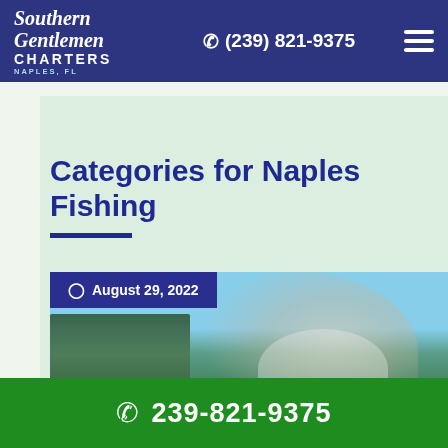Southern Gentlemen Charters Naples, FL | (239) 821-9375
Categories for Naples Fishing
August 29, 2022
[Figure (photo): Man with white beard and sunglasses smiling on a boat on a waterway with green trees and blue sky in the background]
239-821-9375